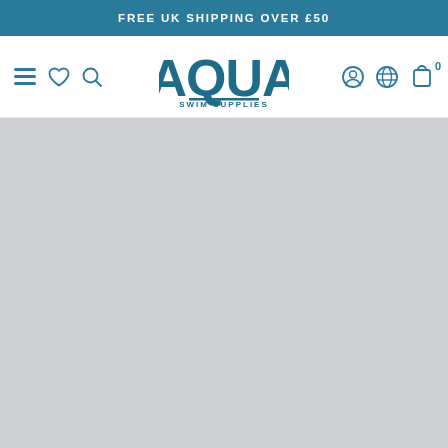FREE UK SHIPPING OVER £50
[Figure (logo): Aqua Swim Supplies logo with large AQUA text and smaller SWIM SUPPLIES text below, in teal/dark blue color]
[Figure (screenshot): Grey placeholder content area below the navigation header]